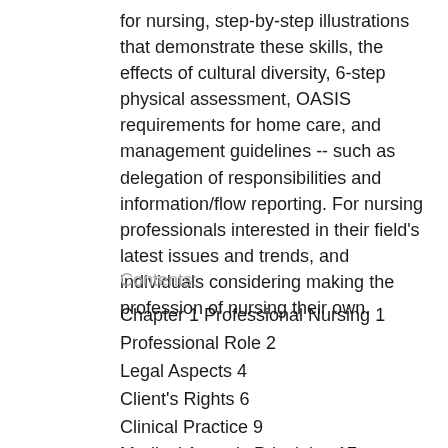for nursing, step-by-step illustrations that demonstrate these skills, the effects of cultural diversity, 6-step physical assessment, OASIS requirements for home care, and management guidelines -- such as delegation of responsibilities and information/flow reporting. For nursing professionals interested in their field's latest issues and trends, and individuals considering making the profession of nursing their own.
Contents:
Chapter 1 Professional Nursing 1
Professional Role 2
Legal Aspects 4
Client's Rights 6
Clinical Practice 9
Medical Asepsis Principles 17
Protocol for Procedures 17
Management Guidelines 18
Delegation of Responsibilities 76